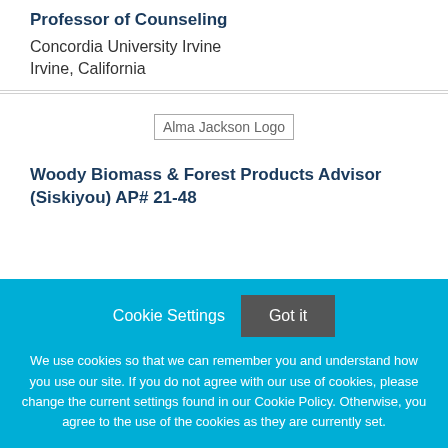Professor of Counseling
Concordia University Irvine
Irvine, California
[Figure (logo): Alma Jackson Logo placeholder image]
Woody Biomass & Forest Products Advisor (Siskiyou) AP# 21-48
Cookie Settings
Got it
We use cookies so that we can remember you and understand how you use our site. If you do not agree with our use of cookies, please change the current settings found in our Cookie Policy. Otherwise, you agree to the use of the cookies as they are currently set.